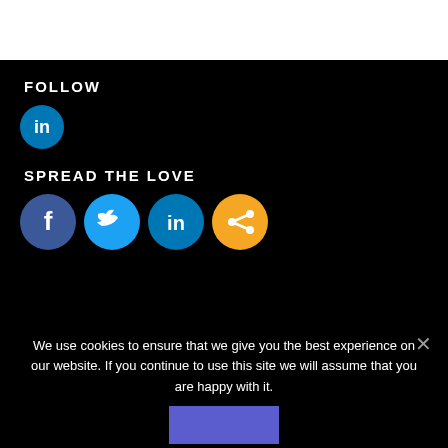FOLLOW
[Figure (logo): LinkedIn circular icon - blue circle with white 'in' text]
SPREAD THE LOVE
[Figure (illustration): Four social sharing icons in a row: Facebook (dark blue circle with white 'f'), Twitter (light blue circle with white bird), LinkedIn (blue circle with white 'in'), Share (orange circle with white share icon)]
We use cookies to ensure that we give you the best experience on our website. If you continue to use this site we will assume that you are happy with it.